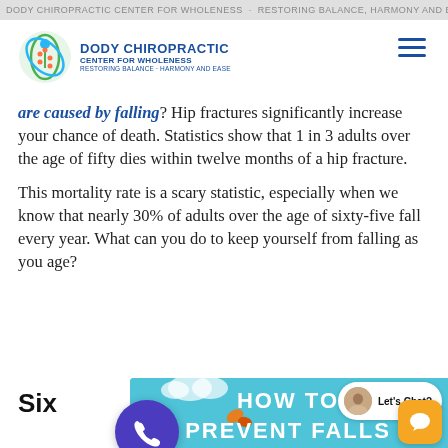DODY CHIROPRACTIC CENTER FOR WHOLENESS - RESTORING BALANCE, HARMONY AND EASE
[Figure (logo): Dody Chiropractic Center for Wholeness logo with circular green/blue icon and blue text]
are caused by falling? Hip fractures significantly increase your chance of death. Statistics show that 1 in 3 adults over the age of fifty dies within twelve months of a hip fracture.
This mortality rate is a scary statistic, especially when we know that nearly 30% of adults over the age of sixty-five fall every year. What can you do to keep yourself from falling as you age?
Six
[Figure (infographic): Infographic with light blue background showing 'HOW TO PREVENT FALLS' text in white bold letters, with cloud and leaf decorative elements, a phone call button (purple circle with phone icon), a Let's Chat widget with avatar, and an orange chat icon button]